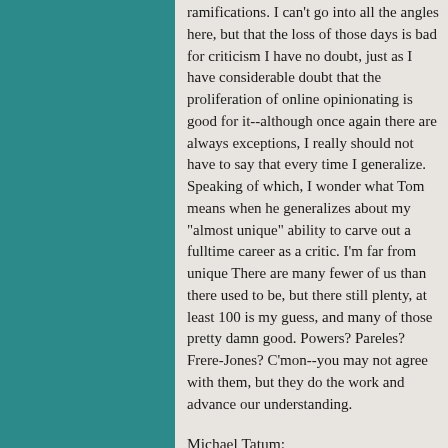ramifications. I can't go into all the angles here, but that the loss of those days is bad for criticism I have no doubt, just as I have considerable doubt that the proliferation of online opinionating is good for it--although once again there are always exceptions, I really should not have to say that every time I generalize. Speaking of which, I wonder what Tom means when he generalizes about my "almost unique" ability to carve out a fulltime career as a critic. I'm far from unique There are many fewer of us than there used to be, but there still plenty, at least 100 is my guess, and many of those pretty damn good. Powers? Pareles? Frere-Jones? C'mon--you may not agree with them, but they do the work and advance our understanding.
Michael Tatum:
The thing about gentlemen amateurs (and I'm flattered to be called a gentleman, of course) is that they need a great deal of discipline to create superlative work that can stand against -- or be ranked better than -- the professionals. This is not easy; it takes a great deal of work,